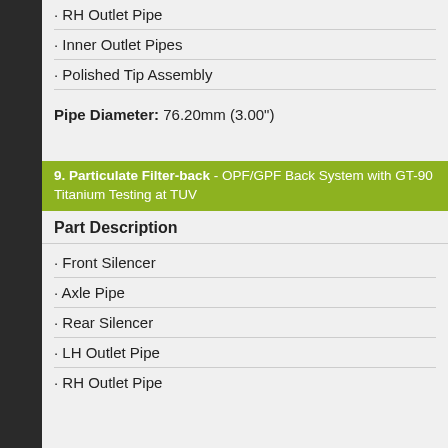· RH Outlet Pipe
· Inner Outlet Pipes
· Polished Tip Assembly
Pipe Diameter: 76.20mm (3.00")
9. Particulate Filter-back - OPF/GPF Back System with GT-90 Titanium Testing at TUV
Part Description
· Front Silencer
· Axle Pipe
· Rear Silencer
· LH Outlet Pipe
· RH Outlet Pipe